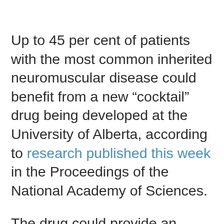Up to 45 per cent of patients with the most common inherited neuromuscular disease could benefit from a new “cocktail” drug being developed at the University of Alberta, according to research published this week in the Proceedings of the National Academy of Sciences.
The drug could provide an effective and economical treatment to lessen symptoms for the six of every 100,000 people — usually boys — affected by Duchenne muscular dystrophy, a chronic muscle-wasting disease, according to lead